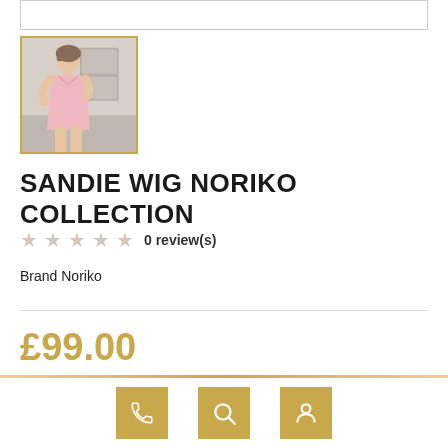[Figure (photo): Thumbnail photo of a woman wearing a short light pink wig, dressed in a pink sleeveless outfit, posed in a kitchen-like setting]
SANDIE WIG NORIKO COLLECTION
0 review(s)
Brand Noriko
£99.00
£82.50 - Excluding VAT
Footer icons: phone, search, account